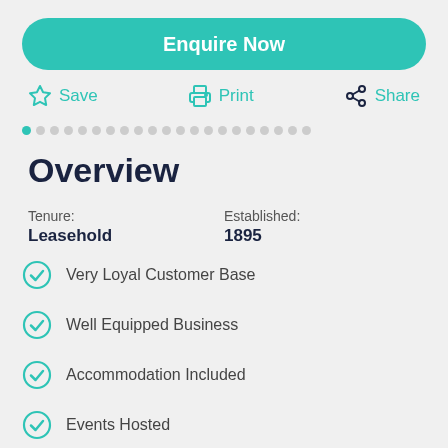Enquire Now
Save  Print  Share
Overview
Tenure: Leasehold
Established: 1895
Very Loyal Customer Base
Well Equipped Business
Accommodation Included
Events Hosted